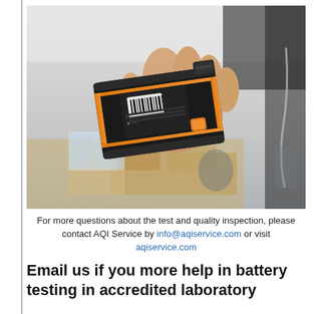[Figure (photo): A hand holding the back of a rugged black and orange handheld device (possibly a body camera or industrial scanner), showing a label/barcode on the back, in a workshop/laboratory environment.]
For more questions about the test and quality inspection, please contact AQI Service by info@aqiservice.com or visit aqiservice.com
Email us if you more help in battery testing in accredited laboratory